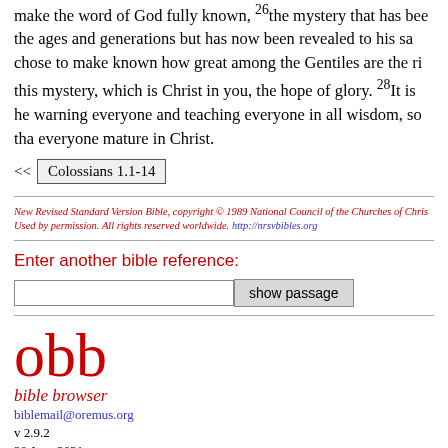make the word of God fully known, 26the mystery that has been the ages and generations but has now been revealed to his sa chose to make known how great among the Gentiles are the ri this mystery, which is Christ in you, the hope of glory. 28It is he warning everyone and teaching everyone in all wisdom, so tha everyone mature in Christ.
<< Colossians 1.1-14
New Revised Standard Version Bible, copyright © 1989 National Council of the Churches of Chris Used by permission. All rights reserved worldwide. http://nrsvbibles.org
Enter another bible reference:
[input field] show passage
[Figure (logo): obb bible browser logo in red, with email biblemail@oremus.org and version v 2.9.2, 30 June 2021]